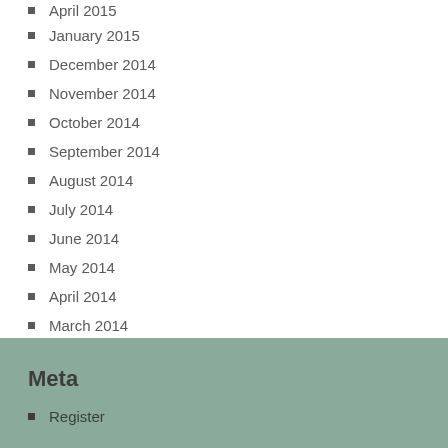April 2015
January 2015
December 2014
November 2014
October 2014
September 2014
August 2014
July 2014
June 2014
May 2014
April 2014
March 2014
Meta
Register